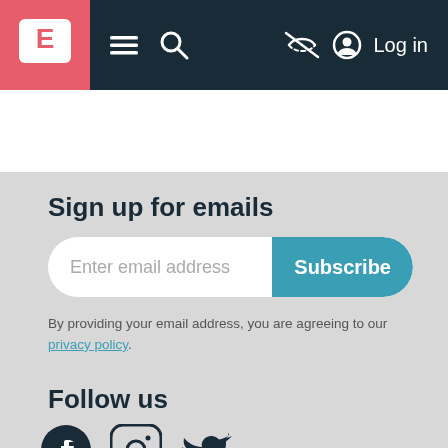E [logo] navigation bar with menu, search, hide, and Log in icons
Sign up for emails
Enter email address   Subscribe
By providing your email address, you are agreeing to our privacy policy.
Follow us
[Figure (illustration): Facebook, Instagram, and Twitter social media icons]